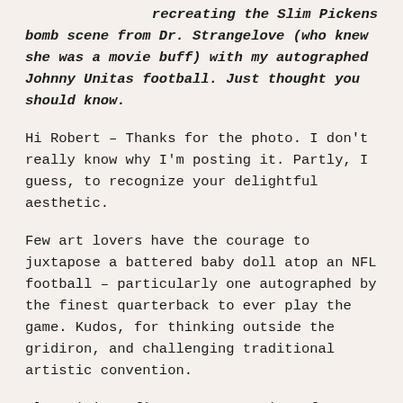recreating the Slim Pickens bomb scene from Dr. Strangelove (who knew she was a movie buff) with my autographed Johnny Unitas football. Just thought you should know.
Hi Robert – Thanks for the photo. I don't really know why I'm posting it. Partly, I guess, to recognize your delightful aesthetic.
Few art lovers have the courage to juxtapose a battered baby doll atop an NFL football – particularly one autographed by the finest quarterback to ever play the game. Kudos, for thinking outside the gridiron, and challenging traditional artistic convention.
Also, it's a fine representation of your generous spirit. If memory serves, you paid over $500 for The Bilge Baby, a truly troubling mascot once lashed to the mast of work boat featured on Dirty Jobs, and a cherished